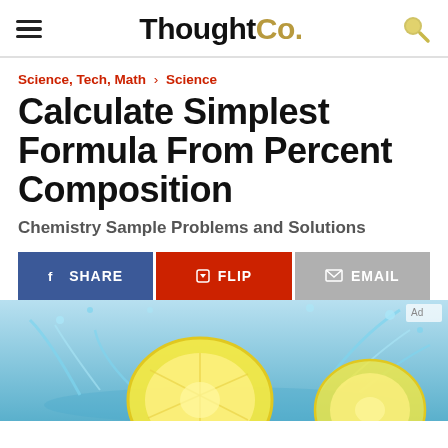ThoughtCo.
Science, Tech, Math › Science
Calculate Simplest Formula From Percent Composition
Chemistry Sample Problems and Solutions
SHARE  FLIP  EMAIL
[Figure (photo): Lemon slices splashing in water on a light blue background]